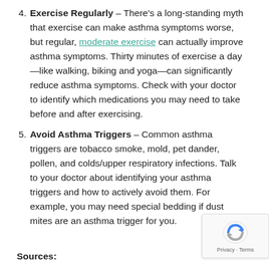4. Exercise Regularly – There's a long-standing myth that exercise can make asthma symptoms worse, but regular, moderate exercise can actually improve asthma symptoms. Thirty minutes of exercise a day—like walking, biking and yoga—can significantly reduce asthma symptoms. Check with your doctor to identify which medications you may need to take before and after exercising.
5. Avoid Asthma Triggers – Common asthma triggers are tobacco smoke, mold, pet dander, pollen, and colds/upper respiratory infections. Talk to your doctor about identifying your asthma triggers and how to actively avoid them. For example, you may need special bedding if dust mites are an asthma trigger for you.
Sources: